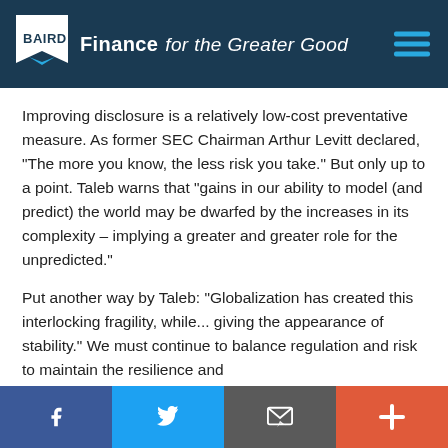BAIRD — Finance for the Greater Good
Improving disclosure is a relatively low-cost preventative measure. As former SEC Chairman Arthur Levitt declared, "The more you know, the less risk you take." But only up to a point. Taleb warns that "gains in our ability to model (and predict) the world may be dwarfed by the increases in its complexity – implying a greater and greater role for the unpredicted."
Put another way by Taleb: "Globalization has created this interlocking fragility, while... giving the appearance of stability." We must continue to balance regulation and risk to maintain the resilience and
Social share bar: Facebook, Twitter, Email, Plus